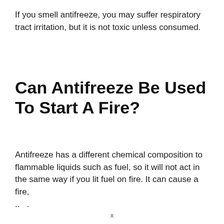If you smell antifreeze, you may suffer respiratory tract irritation, but it is not toxic unless consumed.
Can Antifreeze Be Used To Start A Fire?
Antifreeze has a different chemical composition to flammable liquids such as fuel, so it will not act in the same way if you lit fuel on fire. It can cause a fire, ...
x